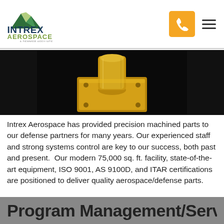INTREX AEROSPACE — A DEMMER AFFILIATE
[Figure (photo): Close-up photo of a precision machined brass part (flange/fitting) on a dark background]
Intrex Aerospace has provided precision machined parts to our defense partners for many years. Our experienced staff and strong systems control are key to our success, both past and present.  Our modern 75,000 sq. ft. facility, state-of-the-art equipment, ISO 9001, AS 9100D, and ITAR certifications are positioned to deliver quality aerospace/defense parts.
Program Management/Services